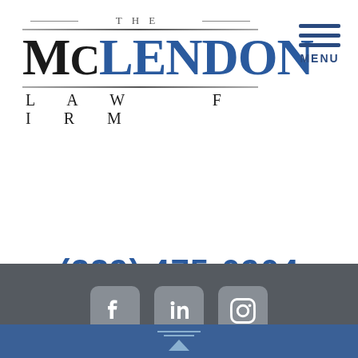[Figure (logo): The McLendon Law Firm logo with 'THE' above 'McLENDON' in large serif font (Mc in black, LENDON in blue), with horizontal divider lines and 'LAW FIRM' in spaced lettering below]
[Figure (other): Hamburger menu icon (three horizontal navy blue bars) with 'MENU' text below]
(229) 475-0904
[Figure (other): Social media icons: Facebook, LinkedIn, Instagram — white icons on rounded gray squares]
About the Firm
[Figure (other): Back-to-top icon with stacked lines and upward triangle on blue bar]